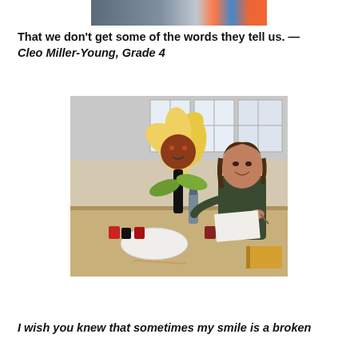[Figure (photo): Partial photo at top of page showing colorful artwork or display]
That we don't get some of the words they tell us. — Cleo Miller-Young, Grade 4
[Figure (photo): A smiling woman sitting at a table in a classroom setting, holding a decorative flower craft made with yellow petals and a brown round face, with paint supplies on the table]
I wish you knew that sometimes my smile is a broken